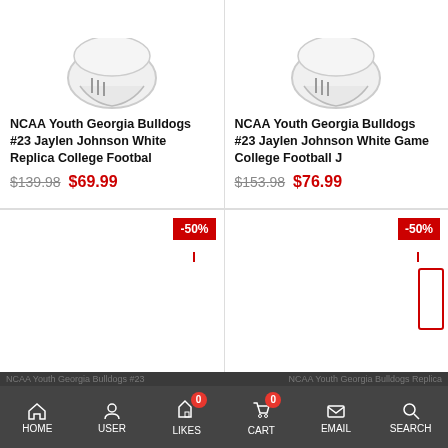[Figure (photo): White football helmet product image, top left card]
NCAA Youth Georgia Bulldogs #23 Jaylen Johnson White Replica College Footbal
$139.98  $69.99
[Figure (photo): White football helmet product image, top right card]
NCAA Youth Georgia Bulldogs #23 Jaylen Johnson White Game College Football J
$153.98  $76.99
[Figure (photo): Bottom left product card with -50% badge, empty image area]
[Figure (photo): Bottom right product card with -50% badge, empty image area]
HOME  USER  LIKES 0  CART 0  EMAIL  SEARCH
NCAA Youth Georgia Bulldogs #23  NCAA Youth Georgia Bulldogs Replica